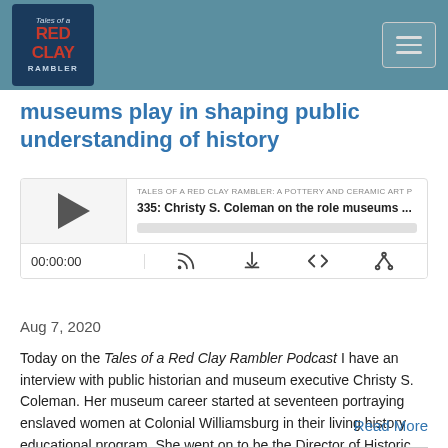Tales of a Red Clay Rambler [logo] — navigation menu
museums play in shaping public understanding of history
[Figure (screenshot): Podcast player widget for episode 335: Christy S. Coleman on the role museums... from Tales of a Red Clay Rambler: A Pottery and Ceramic Art podcast. Shows play button, episode title, progress bar, time display 00:00:00, and control icons.]
Aug 7, 2020
Today on the Tales of a Red Clay Rambler Podcast I have an interview with public historian and museum executive Christy S. Coleman. Her museum career started at seventeen portraying enslaved women at Colonial Williamsburg in their living history educational program. She went on to be the Director of Historic Programs...
Read More